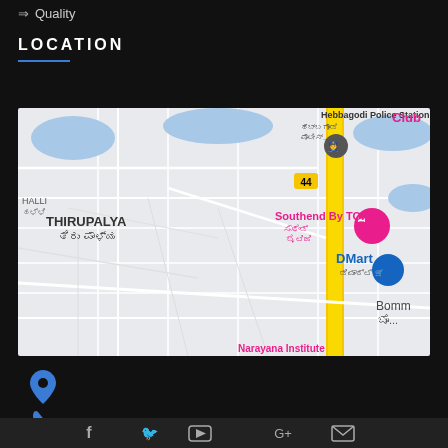→ Quality
LOCATION
[Figure (map): Google Maps screenshot showing Thirupalya area in Bangalore, India. Shows Hebbagodi Police Station, Southend By TGI hotel marker, DMart marker, road 44, and surrounding streets. Kannada script labels visible.]
[Figure (infographic): Contact section with location pin icon, phone icon, and email envelope icon, each in blue on dark background.]
[Figure (infographic): Footer bar with social media icons: Facebook, Twitter, YouTube, Google+, and email icon.]